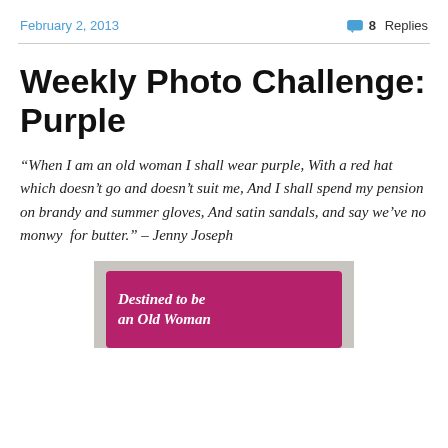February 2, 2013   8 Replies
Weekly Photo Challenge: Purple
“When I am an old woman I shall wear purple, With a red hat which doesn’t go and doesn’t suit me, And I shall spend my pension on brandy and summer gloves, And satin sandals, and say we’ve no monwy  for butter.” – Jenny Joseph
[Figure (photo): A purple book or card with white italic text reading 'Destined to be an Old Woman' on a grey background]